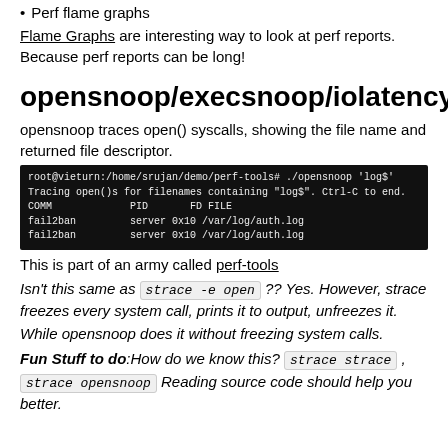Perf flame graphs
Flame Graphs are interesting way to look at perf reports. Because perf reports can be long!
opensnoop/execsnoop/iolatency.
opensnoop traces open() syscalls, showing the file name and returned file descriptor.
[Figure (screenshot): Terminal screenshot showing opensnoop command output with filenames containing log$, displaying COMM, PID, FD, FILE columns with fail2ban server entries.]
This is part of an army called perf-tools
Isn't this same as strace -e open ?? Yes. However, strace freezes every system call, prints it to output, unfreezes it. While opensnoop does it without freezing system calls.
Fun Stuff to do:How do we know this? strace strace , strace opensnoop Reading source code should help you better.